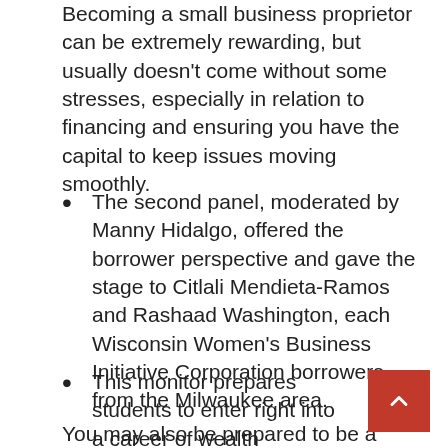Becoming a small business proprietor can be extremely rewarding, but usually doesn't come without some stresses, especially in relation to financing and ensuring you have the capital to keep issues moving smoothly.
The second panel, moderated by Manny Hidalgo, offered the borrower perspective and gave the stage to Citlali Mendieta-Ramos and Rashaad Washington, each Wisconsin Women's Business Initiative Corporation borrowers from the Milwaukee area.
This monitor prepares students to enter right into a career of wealth management and financial planning.
You may also be prepared to be a steward of your private finances in addition to helping others. Our